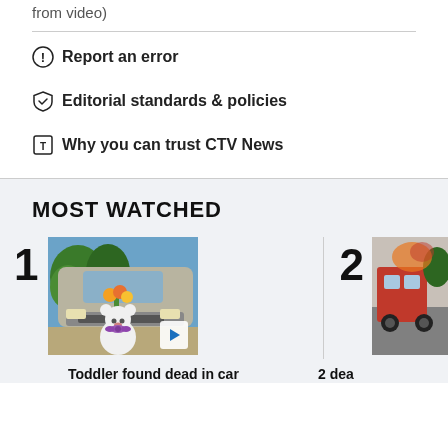from video)
Report an error
Editorial standards & policies
Why you can trust CTV News
MOST WATCHED
[Figure (photo): A white teddy bear with a purple bow sits in front of a silver car, with orange flowers. Numbered item 1 in Most Watched list.]
Toddler found dead in car
[Figure (photo): Partial view of item 2 in Most Watched, showing a fire/rescue scene. Numbered 2.]
2 dea